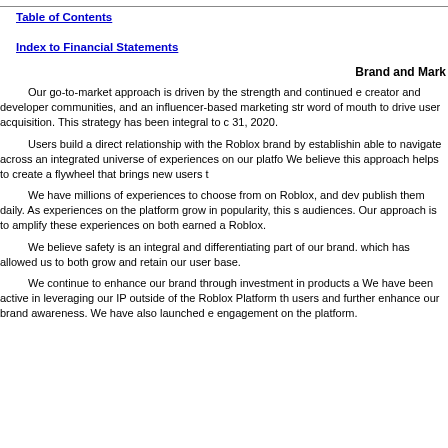Table of Contents
Index to Financial Statements
Brand and Mark
Our go-to-market approach is driven by the strength and continued e creator and developer communities, and an influencer-based marketing str word of mouth to drive user acquisition. This strategy has been integral to c 31, 2020.
Users build a direct relationship with the Roblox brand by establishin able to navigate across an integrated universe of experiences on our platfo We believe this approach helps to create a flywheel that brings new users t
We have millions of experiences to choose from on Roblox, and dev publish them daily. As experiences on the platform grow in popularity, this s audiences. Our approach is to amplify these experiences on both earned a Roblox.
We believe safety is an integral and differentiating part of our brand. which has allowed us to both grow and retain our user base.
We continue to enhance our brand through investment in products a We have been active in leveraging our IP outside of the Roblox Platform th users and further enhance our brand awareness. We have also launched e engagement on the platform.